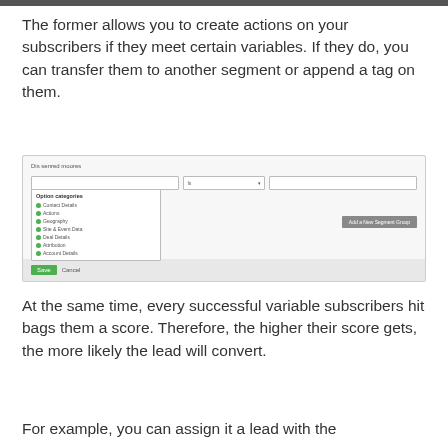The former allows you to create actions on your subscribers if they meet certain variables. If they do, you can transfer them to another segment or append a tag on them.
[Figure (screenshot): A UI screenshot showing a segment filter dialog with a dropdown open listing 'Option categories': Contact Details, Actions, Geography, Site & Event Data, Deal Details, Attribution, Account Details. There is an 'Add a New Segment Group' button on the right, and Save/Cancel buttons at the bottom.]
At the same time, every successful variable subscribers hit bags them a score. Therefore, the higher their score gets, the more likely the lead will convert.
For example, you can assign it a lead with the...